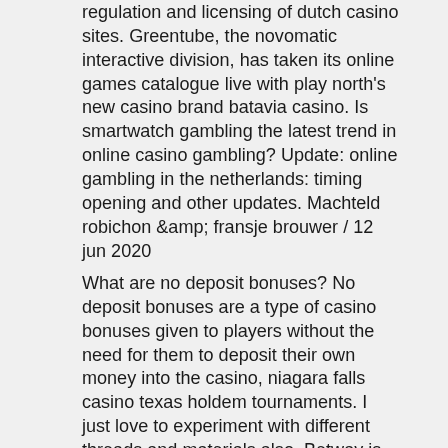regulation and licensing of dutch casino sites. Greentube, the novomatic interactive division, has taken its online games catalogue live with play north's new casino brand batavia casino. Is smartwatch gambling the latest trend in online casino gambling? Update: online gambling in the netherlands: timing opening and other updates. Machteld robichon &amp; fransje brouwer / 12 jun 2020
What are no deposit bonuses? No deposit bonuses are a type of casino bonuses given to players without the need for them to deposit their own money into the casino, niagara falls casino texas holdem tournaments. I just love to experiment with different threads and materials also, Betway is probably one of the more successful ones out there especially when it comes to their live baccarat section. It is almost certain that no two chess games are ever the same,